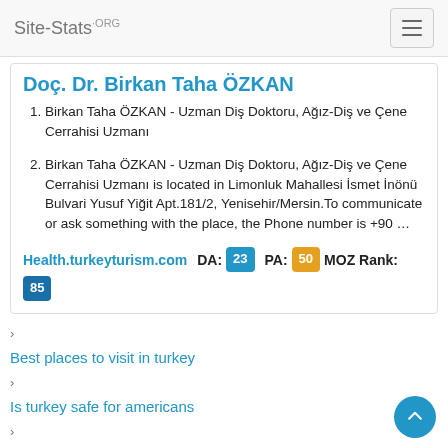Site-Stats.ORG
Doç. Dr. Birkan Taha ÖZKAN
Birkan Taha ÖZKAN - Uzman Diş Doktoru, Ağız-Diş ve Çene Cerrahisi Uzmanı
Birkan Taha ÖZKAN - Uzman Diş Doktoru, Ağız-Diş ve Çene Cerrahisi Uzmanı is located in Limonluk Mahallesi İsmet İnönü Bulvari Yusuf Yiğit Apt.181/2, Yenisehir/Mersin.To communicate or ask something with the place, the Phone number is +90 …
Health.turkeyturism.com   DA: 23   PA: 50   MOZ Rank: 85
Best places to visit in turkey
Is turkey safe for americans
Turkey entry requirements us citizens
Turkey tourism official website
Turkey tourism map